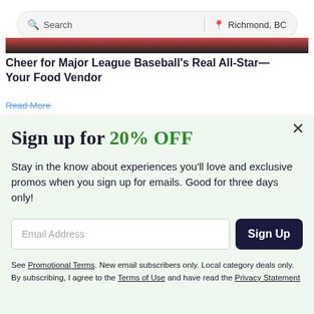[Figure (screenshot): Search bar UI element with 'Search' on the left and 'Richmond, BC' with a location pin icon on the right]
[Figure (photo): Partial image strip from an article about Major League Baseball food vendors]
Cheer for Major League Baseball's Real All-Star—Your Food Vendor
Read More
Sign up for 20% OFF
Stay in the know about experiences you'll love and exclusive promos when you sign up for emails. Good for three days only!
Email Address
Sign Up
See Promotional Terms. New email subscribers only. Local category deals only. By subscribing, I agree to the Terms of Use and have read the Privacy Statement